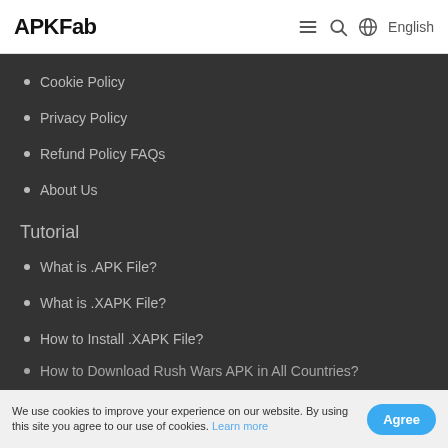APKFab  ≡  🔍  🌐 English
Cookie Policy
Privacy Policy
Refund Policy FAQs
About Us
Tutorial
What is .APK File?
What is .XAPK File?
How to Install .XAPK File?
How to Download Rush Wars APK in All Countries?
We use cookies to improve your experience on our website. By using this site you agree to our use of cookies. Learn more